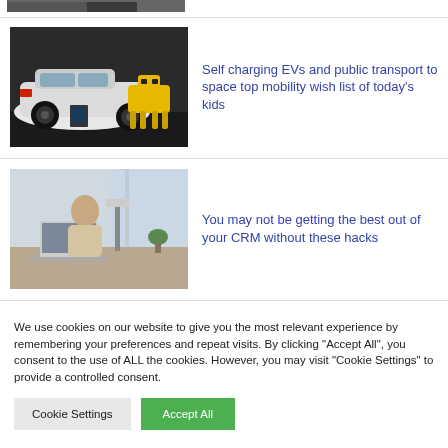[Figure (photo): Partial view of a dark image at the top (cropped from above)]
[Figure (photo): A white EV car with a yellow Boston Dynamics Spot robot dog in a garage setting]
Self charging EVs and public transport to space top mobility wish list of today's kids
[Figure (photo): A man sitting at a desk with a laptop and lamp in a bright office environment]
You may not be getting the best out of your CRM without these hacks
We use cookies on our website to give you the most relevant experience by remembering your preferences and repeat visits. By clicking "Accept All", you consent to the use of ALL the cookies. However, you may visit "Cookie Settings" to provide a controlled consent.
Cookie Settings | Accept All